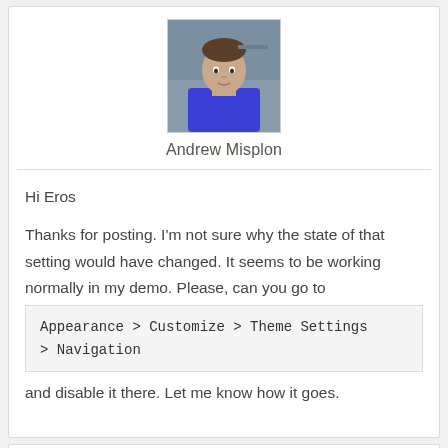[Figure (photo): Avatar photo of Andrew Misplon, a man in a blue hoodie]
Andrew Misplon
Hi Eros

Thanks for posting. I'm not sure why the state of that setting would have changed. It seems to be working normally in my demo. Please, can you go to Appearance > Customize > Theme Settings > Navigation and disable it there. Let me know how it goes.
October 13, 2016 at 9:59 am
#5184